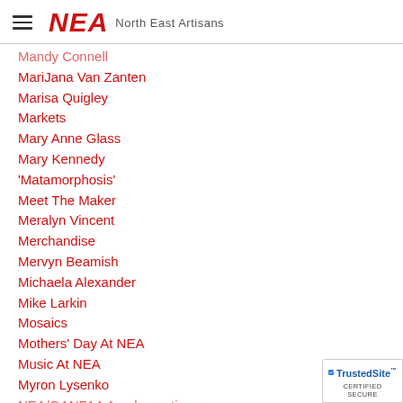NEA North East Artisans
Mandy Connell
MariJana Van Zanten
Marisa Quigley
Markets
Mary Anne Glass
Mary Kennedy
'Matamorphosis'
Meet The Maker
Meralyn Vincent
Merchandise
Mervyn Beamish
Michaela Alexander
Mike Larkin
Mosaics
Mothers' Day At NEA
Music At NEA
Myron Lysenko
NEA/GANFAA Amalgamation